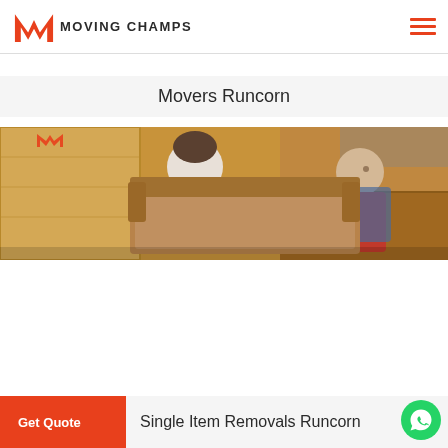Moving Champs
Movers Runcorn
[Figure (photo): Two men carrying a large cardboard box or piece of furniture in a warehouse/storage setting with wooden crates in the background.]
Single Item Removals Runcorn